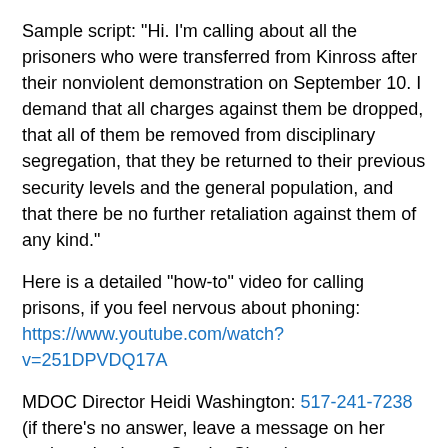Sample script: "Hi. I'm calling about all the prisoners who were transferred from Kinross after their nonviolent demonstration on September 10. I demand that all charges against them be dropped, that all of them be removed from disciplinary segregation, that they be returned to their previous security levels and the general population, and that there be no further retaliation against them of any kind."
Here is a detailed "how-to" video for calling prisons, if you feel nervous about phoning: https://www.youtube.com/watch?v=251DPVDQ17A
MDOC Director Heidi Washington: 517-241-7238 (if there's no answer, leave a message on her assistant's phone, Sandra Simon)
MDOC facilities with levels IV and V, where Kinross prisoners may have been transferred (ask for the office of the warden or deputy warden):
Alger Correctional Facility (LMF)